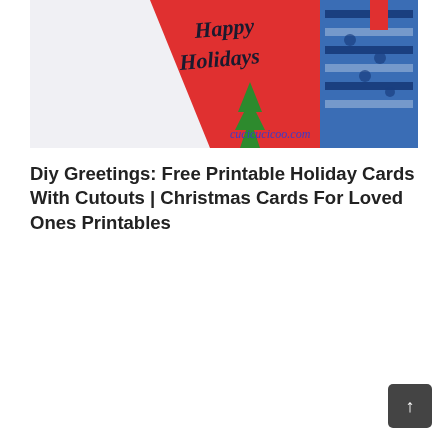[Figure (photo): A holiday greeting card with 'Happy Holidays' written in cursive on a red card with a small green Christmas tree cutout, alongside blue patterned decorative paper. Website watermark 'cucicucicoo.com' visible in lower right.]
Diy Greetings: Free Printable Holiday Cards With Cutouts | Christmas Cards For Loved Ones Printables